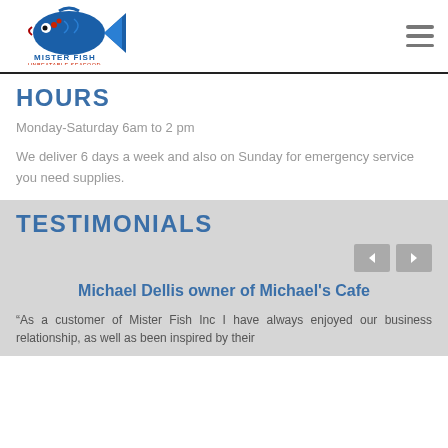[Figure (logo): Mister Fish Unbeatable Seafood logo with fish graphic]
HOURS
Monday-Saturday 6am to 2 pm
We deliver 6 days a week and also on Sunday for emergency service you need supplies.
TESTIMONIALS
Michael Dellis owner of Michael's Cafe
“As a customer of Mister Fish Inc I have always enjoyed our business relationship, as well as been inspired by their